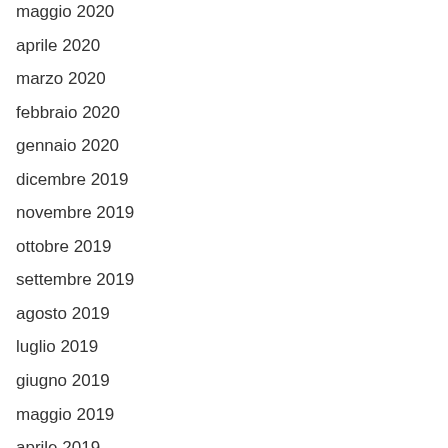maggio 2020
aprile 2020
marzo 2020
febbraio 2020
gennaio 2020
dicembre 2019
novembre 2019
ottobre 2019
settembre 2019
agosto 2019
luglio 2019
giugno 2019
maggio 2019
aprile 2019